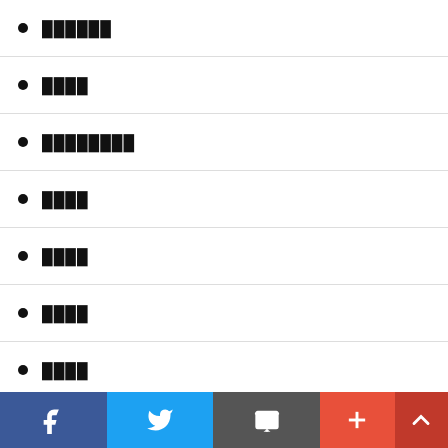██████
████
████████
████
████
████
████
████
████
Facebook | Twitter | Email | More | Up